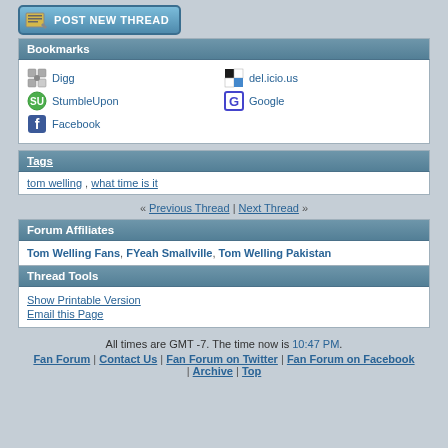[Figure (screenshot): Post New Thread button with yellow notepad icon]
Bookmarks
Digg | del.icio.us | StumbleUpon | Google | Facebook
Tags
tom welling , what time is it
« Previous Thread | Next Thread »
Forum Affiliates
Tom Welling Fans, FYeah Smallville, Tom Welling Pakistan
Thread Tools
Show Printable Version
Email this Page
All times are GMT -7. The time now is 10:47 PM.
Fan Forum | Contact Us | Fan Forum on Twitter | Fan Forum on Facebook | Archive | Top